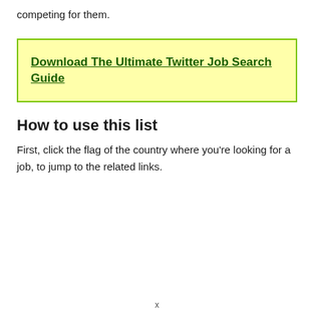competing for them.
Download The Ultimate Twitter Job Search Guide
How to use this list
First, click the flag of the country where you're looking for a job, to jump to the related links.
x